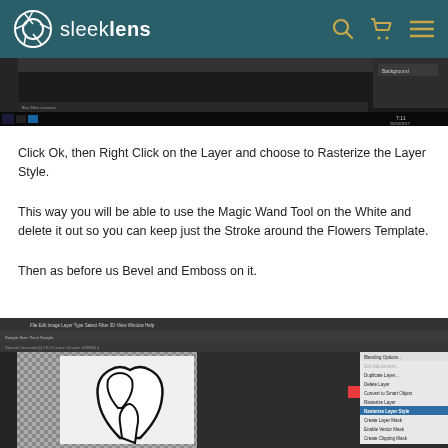sleeklens
[Figure (screenshot): Photoshop application screenshot showing a dark workspace with a taskbar at the bottom. Timestamp visible: 20/04/2017.]
Click Ok, then Right Click on the Layer and choose to Rasterize the Layer Style.
This way you will be able to use the Magic Wand Tool on the White and delete it out so you can keep just the Stroke around the Flowers Template.
Then as before us Bevel and Emboss on it.
[Figure (screenshot): Photoshop screenshot showing a flower outline drawing on a checkerboard transparent background with a right-click context menu visible on the right side, with 'Rasterize Layer Style' highlighted in blue.]